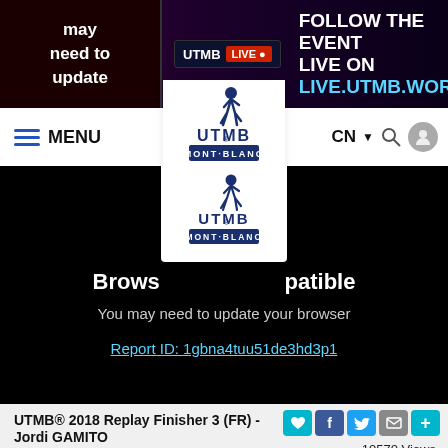may need to update | UTMB LIVE | FOLLOW THE EVENT LIVE ON LIVE.UTMB.WORLD
[Figure (screenshot): UTMB Mont-Blanc website navigation bar with menu icon, UTMB Mont-Blanc logo, CN language selector, search and user icons]
[Figure (screenshot): Video player area with black background showing UTMB Mont-Blanc logo and browser incompatibility error: 'Browser [incompat]ible - You may need to update your browser - Report ID: 1gbna4tuu51de3hd3p1']
UTMB® 2018 Replay Finisher 3 (FR) - Jordi GAMITO
10570 Views